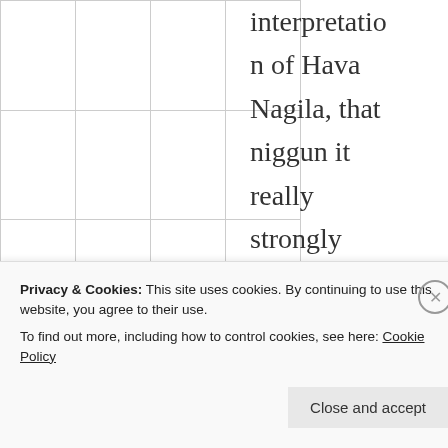|  |  |  |  |
|  |  |  |  |
|  |  |  |  |
interpretation of Hava Nagila, that niggun it really strongly motivates persons who hear it. Now how does this relate to
Privacy & Cookies: This site uses cookies. By continuing to use this website, you agree to their use.
To find out more, including how to control cookies, see here: Cookie Policy